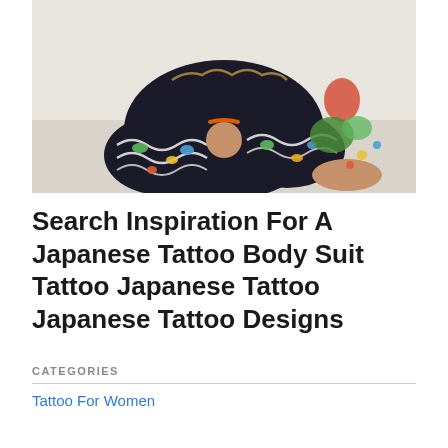[Figure (photo): Person sitting cross-legged on the floor showing extensive Japanese-style tattoos covering both legs and arms, with colorful designs including waves, animals, and traditional Japanese motifs.]
Search Inspiration For A Japanese Tattoo Body Suit Tattoo Japanese Tattoo Japanese Tattoo Designs
CATEGORIES
Tattoo For Women